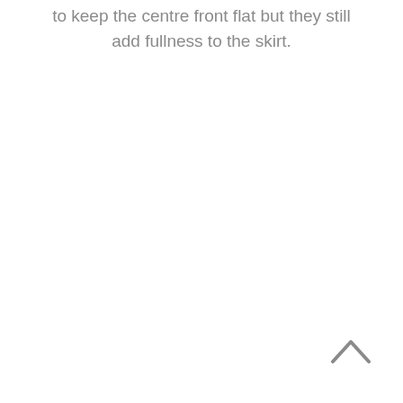to keep the centre front flat but they still add fullness to the skirt.
[Figure (other): An upward-pointing chevron / caret icon used as a back-to-top navigation button, rendered in grey.]